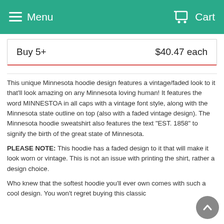Menu   Cart
|  |  |
| --- | --- |
| Buy 5+ | $40.47 each |
This unique Minnesota hoodie design features a vintage/faded look to it that'll look amazing on any Minnesota loving human! It features the word MINNESTOA in all caps with a vintage font style, along with the Minnesota state outline on top (also with a faded vintage design). The Minnesota hoodie sweatshirt also features the text "EST. 1858" to signify the birth of the great state of Minnesota.
PLEASE NOTE: This hoodie has a faded design to it that will make it look worn or vintage. This is not an issue with printing the shirt, rather a design choice.
Who knew that the softest hoodie you'll ever own comes with such a cool design. You won't regret buying this classic